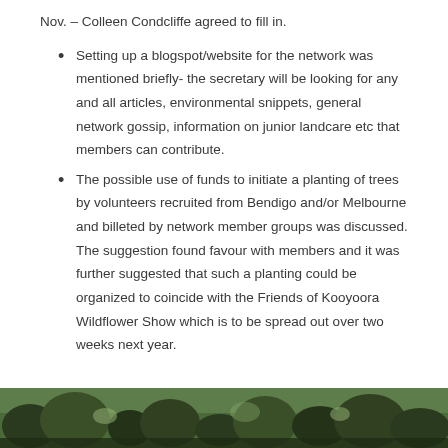Nov. – Colleen Condcliffe agreed to fill in.
Setting up a blogspot/website for the network was mentioned briefly- the secretary will be looking for any and all articles, environmental snippets, general network gossip, information on junior landcare etc that members can contribute.
The possible use of funds to initiate a planting of trees by volunteers recruited from Bendigo and/or Melbourne and billeted by network member groups was discussed. The suggestion found favour with members and it was further suggested that such a planting could be organized to coincide with the Friends of Kooyoora Wildflower Show which is to be spread out over two weeks next year.
[Figure (photo): A strip of outdoor/nature photograph showing trees and vegetation, appearing at the bottom of the page.]